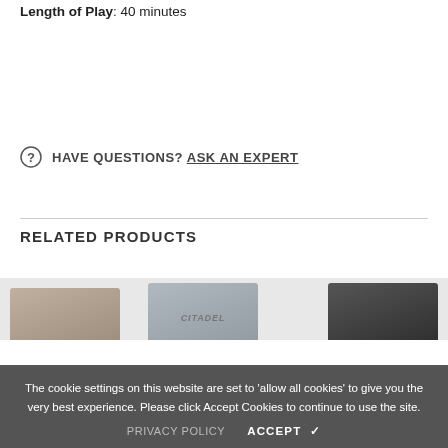Length of Play: 40 minutes
HAVE QUESTIONS? ASK AN EXPERT
RELATED PRODUCTS
[Figure (photo): Related product thumbnails including Citadel paint products and Chaos Black spray can]
The cookie settings on this website are set to 'allow all cookies' to give you the very best experience. Please click Accept Cookies to continue to use the site.
PRIVACY POLICY    ACCEPT ✔